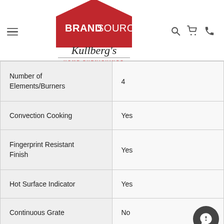BrandSource Kullberg's Home Furnishings — navigation header
| Feature | Value |
| --- | --- |
| Number of Elements/Burners | 4 |
| Convection Cooking | Yes |
| Fingerprint Resistant Finish | Yes |
| Hot Surface Indicator | Yes |
| Continuous Grate | No |